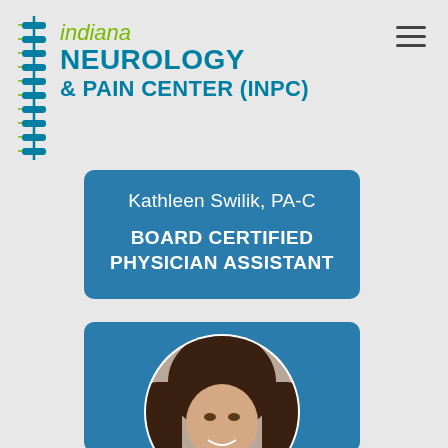[Figure (logo): Indiana Neurology & Pain Center (INPC) logo with spine graphic on the left and text on the right]
Kathleen Swilik, PA-C
BOARD CERTIFIED PHYSICIAN ASSISTANT
[Figure (photo): Circular headshot portrait of Kathleen Swilik, a young woman with long dark brown hair, smiling, against a light background. Photo is inside a blue rounded-rectangle card.]